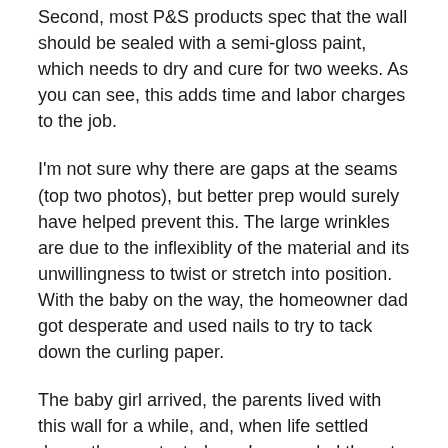Second, most P&S products spec that the wall should be sealed with a semi-gloss paint, which needs to dry and cure for two weeks. As you can see, this adds time and labor charges to the job.
I'm not sure why there are gaps at the seams (top two photos), but better prep would surely have helped prevent this. The large wrinkles are due to the inflexiblity of the material and its unwillingness to twist or stretch into position. With the baby on the way, the homeowner dad got desperate and used nails to try to tack down the curling paper.
The baby girl arrived, the parents lived with this wall for a while, and, when life settled down, they contacted me. I counseled them to forget the P&S and to choose a traditional wallpaper.